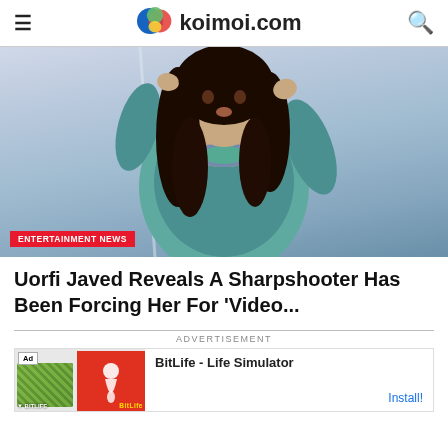koimoi.com
[Figure (photo): Woman with long dark curly hair wearing a teal/green satin outfit with colorful necklace, posing against a light blue-grey background]
ENTERTAINMENT NEWS
Uorfi Javed Reveals A Sharpshooter Has Been Forcing Her For ‘Video...
ADVERTISEMENT
[Figure (screenshot): BitLife - Life Simulator advertisement banner with green and red imagery. Install button on right.]